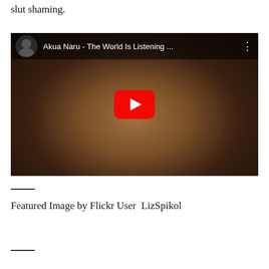slut shaming.
[Figure (screenshot): YouTube video thumbnail for 'Akua Naru - The World Is Listening ...' showing a woman wearing a headscarf and necklace, with a red YouTube play button overlay in the center.]
—
Featured Image by Flickr User  LizSpikol
—